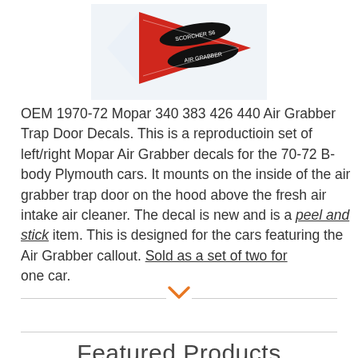[Figure (photo): Product image of OEM 1970-72 Mopar Air Grabber Trap Door Decals showing red and black triangular decal design]
OEM 1970-72 Mopar 340 383 426 440 Air Grabber Trap Door Decals. This is a reproductioin set of left/right Mopar Air Grabber decals for the 70-72 B-body Plymouth cars. It mounts on the inside of the air grabber trap door on the hood above the fresh air intake air cleaner. The decal is new and is a peel and stick item. This is designed for the cars featuring the Air Grabber callout. Sold as a set of two for one car.
Featured Products